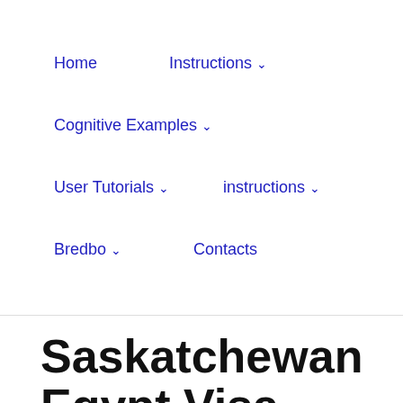Home | Instructions ˅ | Cognitive Examples ˅ | User Tutorials ˅ | instructions ˅ | Bredbo ˅ | Contacts
Saskatchewan Egypt Visa